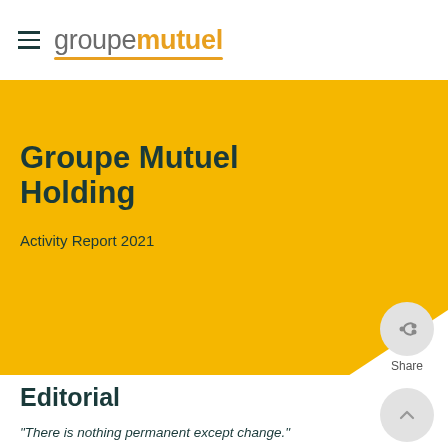[Figure (logo): Groupe Mutuel logo with hamburger menu icon, showing 'groupe' in grey and 'mutuel' in orange/yellow bold, with orange underline]
Groupe Mutuel Holding
Activity Report 2021
Editorial
“There is nothing permanent except change.”